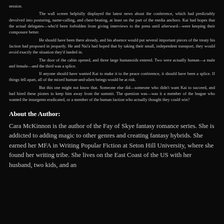session.

The wall screen helpfully displayed the latest news about the conference, which had predictably devolved into posturing, name-calling, and chest-beating, at least on the part of the media anchors. Kai had hopes that the actual delegates—who'd been forbidden from giving interviews to the press until afterward—were keeping their composure better.

He should have been there already, and his absence would put several important pieces of the treaty his faction had proposed in jeopardy. He and Nai'a had hoped that by taking their small, independent transport, they would avoid exactly the situation they'd landed in.

The door of the cabin opened, and three large humanoids entered. Two were actually human—a male and female—and the third was a splice.

If anyone should have wanted Kai to make it to the peace conference, it should have been a splice. If things fell apart, all of the mixed human-and-alien beings would be at risk.

But this one might not know that. Someone else did—someone who didn't want Kai to succeed, and had hired these pirates to keep him away from the summit. The question was—was it a member of the league who wanted the insurgents eradicated, or a member of the human faction who actually thought they could win?
About the Author:
Cara McKinnon is the author of the Fay of Skye fantasy romance series. She is addicted to adding magic to other genres and creating fantasy hybrids. She earned her MFA in Writing Popular Fiction at Seton Hill University, where she found her writing tribe. She lives on the East Coast of the US with her husband, two kids, and an